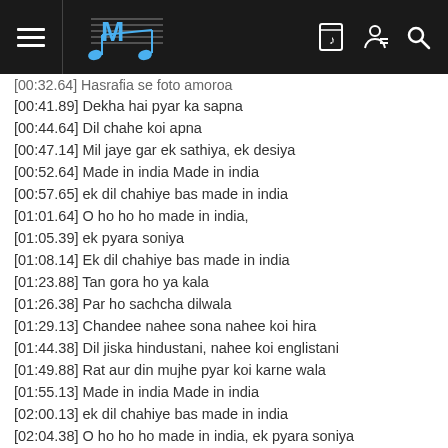Music app header with hamburger menu, logo, and navigation icons
[00:32.64] Hasrafia se foto amoroa
[00:41.89] Dekha hai pyar ka sapna
[00:44.64] Dil chahe koi apna
[00:47.14] Mil jaye gar ek sathiya, ek desiya
[00:52.64] Made in india Made in india
[00:57.65] ek dil chahiye bas made in india
[01:01.64] O ho ho ho made in india,
[01:05.39] ek pyara soniya
[01:08.14] Ek dil chahiye bas made in india
[01:23.88] Tan gora ho ya kala
[01:26.38] Par ho sachcha dilwala
[01:29.13] Chandee nahee sona nahee koi hira
[01:44.38] Dil jiska hindustani, nahee koi englistani
[01:49.88] Rat aur din mujhe pyar koi karne wala
[01:55.13] Made in india Made in india
[02:00.13] ek dil chahiye bas made in india
[02:04.38] O ho ho ho made in india, ek pyara soniya